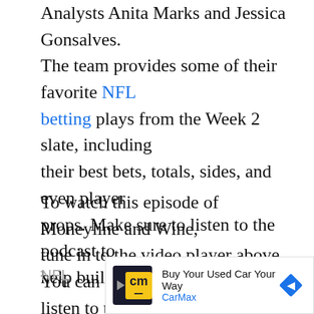Analysts Anita Marks and Jessica Gonsalves. The team provides some of their favorite NFL betting plays from the Week 2 slate, including their best bets, totals, sides, and even player props. Make sure to listen to the podcast to help build your bankroll!
To watch this episode of Moneyline and Wine, tune in to the video player above. You can also listen to the podcast in the player at the end of the article or on your favorite podcast platform, including Apple Podcasts and Spotify.
[Figure (other): CarMax advertisement banner: 'Buy Your Used Car Your Way' with CarMax logo and navigation arrow icon]